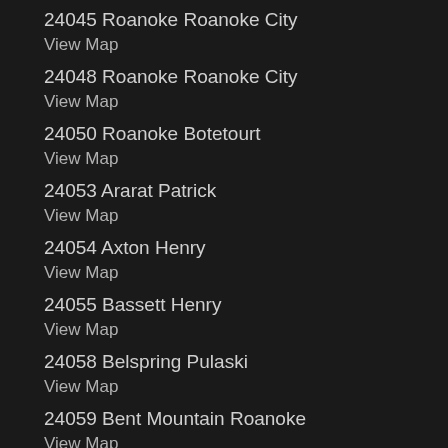24045 Roanoke Roanoke City
View Map
24048 Roanoke Roanoke City
View Map
24050 Roanoke Botetourt
View Map
24053 Ararat Patrick
View Map
24054 Axton Henry
View Map
24055 Bassett Henry
View Map
24058 Belspring Pulaski
View Map
24059 Bent Mountain Roanoke
View Map